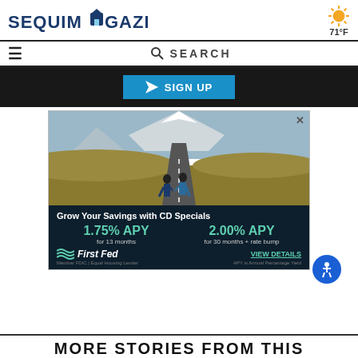SEQUIM GAZETTE | 71°F
≡  🔍 SEARCH
[Figure (screenshot): Dark background banner with a teal SIGN UP button with a paper airplane icon]
[Figure (photo): Advertisement for First Fed CD Specials. Photo of couple walking on road toward snowy mountain. Ad shows 1.75% APY for 13 months and 2.00% APY for 30 months + rate bump. First Fed logo, Member FDIC | Equal Housing Lender, VIEW DETAILS link. Grow Your Savings with CD Specials.]
MORE STORIES FROM THIS